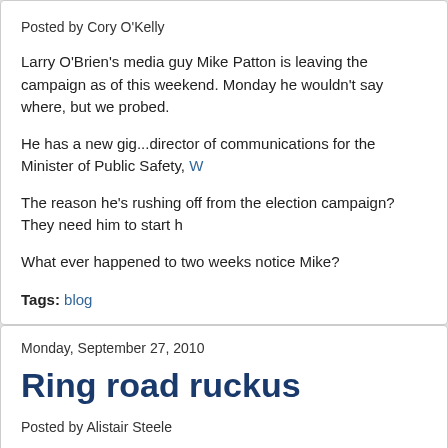Posted by Cory O'Kelly
Larry O'Brien's media guy Mike Patton is leaving the campaign as of this weekend. Monday he wouldn't say where, but we probed.
He has a new gig...director of communications for the Minister of Public Safety, W…
The reason he's rushing off from the election campaign? They need him to start h…
What ever happened to two weeks notice Mike?
Tags: blog
Monday, September 27, 2010
Ring road ruckus
Posted by Alistair Steele
Jim Watson has a few issues with Larry O'Brien's traffic management plan…